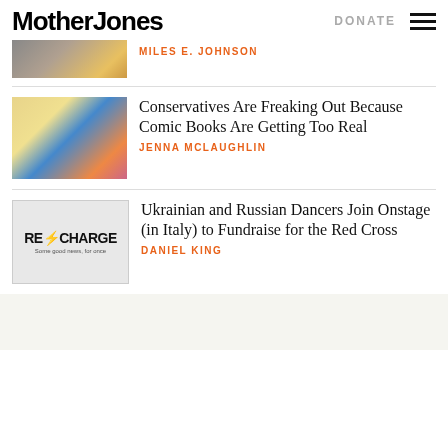Mother Jones
MILES E. JOHNSON
Conservatives Are Freaking Out Because Comic Books Are Getting Too Real
JENNA MCLAUGHLIN
Ukrainian and Russian Dancers Join Onstage (in Italy) to Fundraise for the Red Cross
DANIEL KING